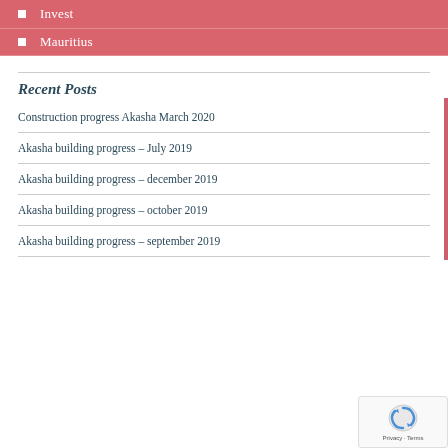Invest
Mauritius
Recent Posts
Construction progress Akasha March 2020
Akasha building progress – July 2019
Akasha building progress – december 2019
Akasha building progress – october 2019
Akasha building progress – september 2019